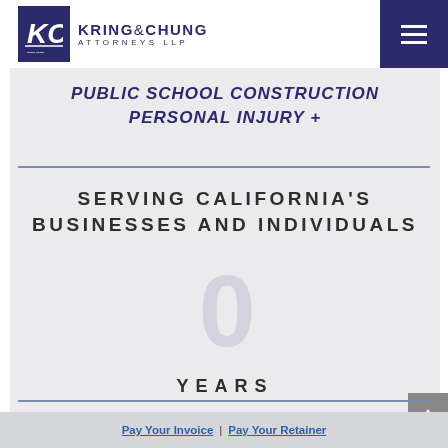[Figure (logo): Kring & Chung Attorneys LLP logo with KC monogram in navy blue box and firm name text]
PUBLIC SCHOOL CONSTRUCTION
PERSONAL INJURY +
SERVING CALIFORNIA'S
BUSINESSES AND INDIVIDUALS
0
YEARS
Pay Your Invoice | Pay Your Retainer